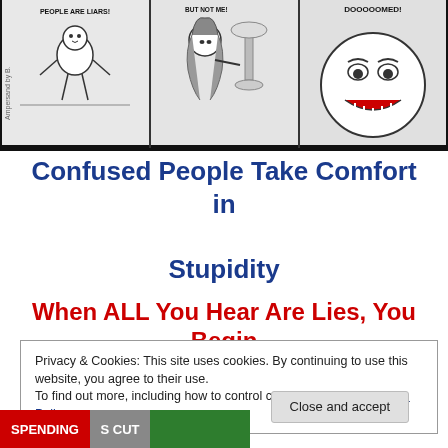[Figure (illustration): Three-panel comic strip. Left panel shows a small character with speech bubble 'PEOPLE ARE LIARS!', middle panel shows a woman talking to a lamp, right panel shows an angry face with speech bubble 'DOOOOOMED!'. Watermark text 'Ampersand by B...' on left side.]
Confused People Take Comfort in Stupidity
When ALL You Hear Are Lies, You Begin
Privacy & Cookies: This site uses cookies. By continuing to use this website, you agree to their use.
To find out more, including how to control cookies, see here: Cookie Policy
[Figure (photo): Partial bottom strip showing 'SPENDING' and 'S CUT' text on red background, and a green image section.]